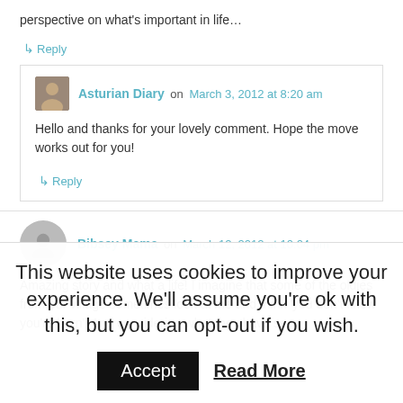perspective on what's important in life…
↳ Reply
Asturian Diary on March 3, 2012 at 8:20 am
Hello and thanks for your lovely comment. Hope the move works out for you!
↳ Reply
Bibsey Mama on March 12, 2012 at 10:04 pm
Amazing story and what a life! I imagine that some of the oldies from our village sometimes look at me and think 'you don't know you're born'. And considering what they have seen
This website uses cookies to improve your experience. We'll assume you're ok with this, but you can opt-out if you wish.
Accept  Read More